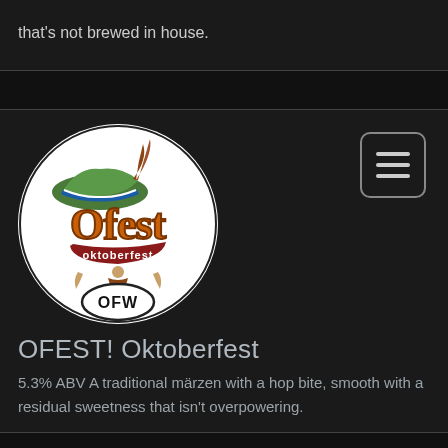that's not brewed in house.
[Figure (logo): OFEST! Oktoberfest circular logo with a Bavarian hat, OFW oval badge, and gothic 'Ofest' text]
OFEST! Oktoberfest
5.3% ABV A traditional märzen with a hop bite, smooth with a residual sweetness that isn't overpowering.